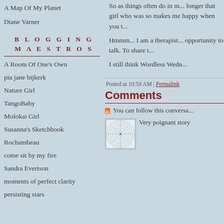A Map Of My Planet
Diane Varner
BLOGGING MAESTROS
A Room Of One's Own
pia jane bijkerk
Nature Girl
TangoBaby
Molokai Girl
Susanna's Sketchbook
Rochambeau
come sit by my fire
Sandra Evertson
moments of perfect clarity
persisting stars
So as things often do in m... longer that girl who was so... makes me happy when you t...
Hmmm... I am a therapist... opportunity to talk. To share t...
I still think Wordless Wedn...
Posted at 10:59 AM | Permalink
Comments
You can follow this conversa...
Very poignant story